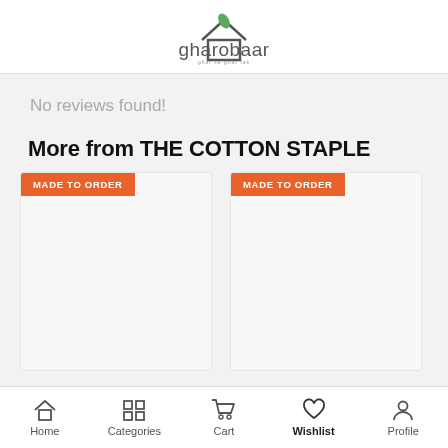[Figure (logo): Gharobaar logo with house icon and green leaf, grey text]
No reviews found!
More from THE COTTON STAPLE
[Figure (other): Product card with orange MADE TO ORDER badge on white/light grey background]
[Figure (other): Product card with orange MADE TO ORDER badge on white/light grey background]
Home  Categories  Cart  Wishlist  Profile